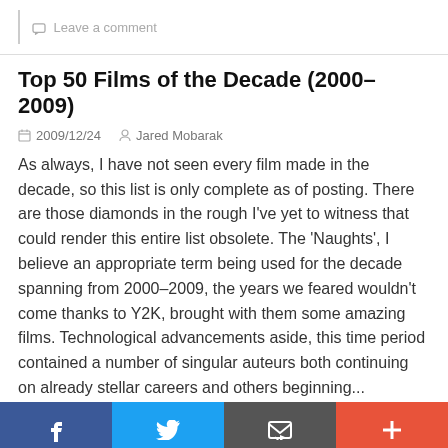💬 Leave a comment
Top 50 Films of the Decade (2000–2009)
2009/12/24   Jared Mobarak
As always, I have not seen every film made in the decade, so this list is only complete as of posting. There are those diamonds in the rough I've yet to witness that could render this entire list obsolete. The 'Naughts', I believe an appropriate term being used for the decade spanning from 2000–2009, the years we feared wouldn't come thanks to Y2K, brought with them some amazing films. Technological advancements aside, this time period contained a number of singular auteurs both continuing on already stellar careers and others beginning...
READ MORE